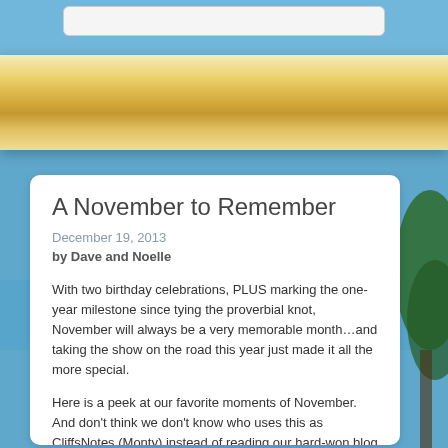[Figure (screenshot): Blog webpage screenshot with blue sky/ocean background, wooden shelf, search bar at top, and white content card]
A November to Remember
December 19, 2013
by Dave and Noelle
With two birthday celebrations, PLUS marking the one-year milestone since tying the proverbial knot, November will always be a very memorable month…and taking the show on the road this year just made it all the more special.
Here is a peek at our favorite moments of November. And don't think we don't know who uses this as CliffsNotes (Monty) instead of reading our hard-won blog posts. Seriously. Just remember, taking short cuts will only hurt you in the long run.